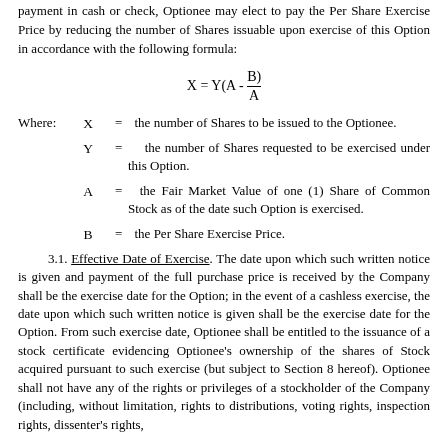payment in cash or check, Optionee may elect to pay the Per Share Exercise Price by reducing the number of Shares issuable upon exercise of this Option in accordance with the following formula:
Where: X = the number of Shares to be issued to the Optionee.
Y = the number of Shares requested to be exercised under this Option.
A = the Fair Market Value of one (1) Share of Common Stock as of the date such Option is exercised.
B = the Per Share Exercise Price.
3.1. Effective Date of Exercise. The date upon which such written notice is given and payment of the full purchase price is received by the Company shall be the exercise date for the Option; in the event of a cashless exercise, the date upon which such written notice is given shall be the exercise date for the Option. From such exercise date, Optionee shall be entitled to the issuance of a stock certificate evidencing Optionee's ownership of the shares of Stock acquired pursuant to such exercise (but subject to Section 8 hereof). Optionee shall not have any of the rights or privileges of a stockholder of the Company (including, without limitation, rights to distributions, voting rights, inspection rights, dissenter's rights,